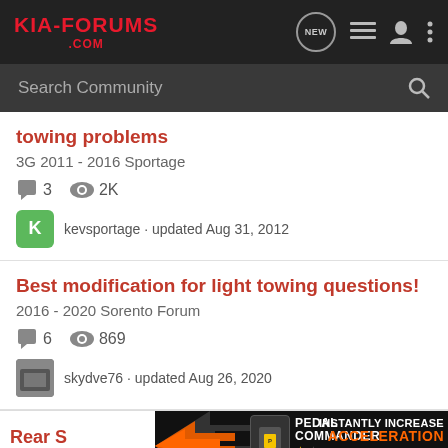KIA-FORUMS .COM
Search Community
towing problems
3G 2011 - 2016 Sportage
3 replies, 2K views
kevsportage · updated Aug 31, 2012
Best modification for light towing questions!
2016 - 2020 Sorento Forum
6 replies, 869 views
skydve76 · updated Aug 26, 2020
Rear S
2003-20
[Figure (other): Pedal Commander advertisement - INSTANTLY INCREASE ACCELERATION]